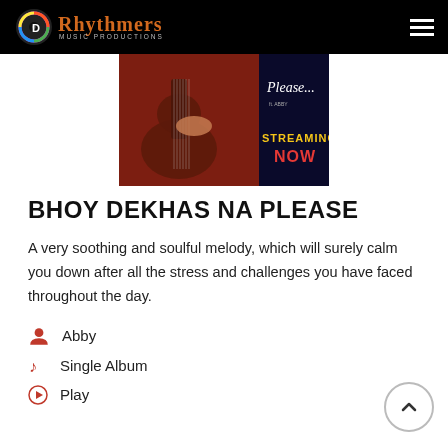Rhythmers Music Productions
[Figure (photo): Album/song promotional image showing a person playing acoustic guitar with text 'Please...' and 'STREAMING NOW' overlay]
BHOY DEKHAS NA PLEASE
A very soothing and soulful melody, which will surely calm you down after all the stress and challenges you have faced throughout the day.
Abby
Single Album
Play